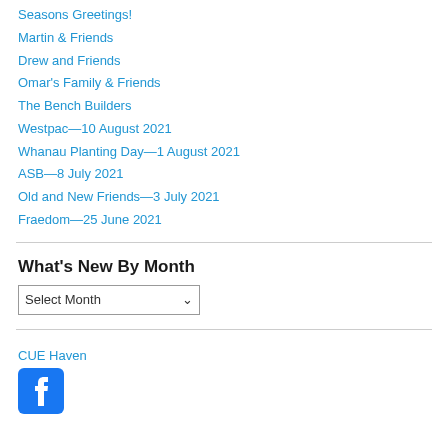Seasons Greetings!
Martin & Friends
Drew and Friends
Omar's Family & Friends
The Bench Builders
Westpac—10 August 2021
Whanau Planting Day—1 August 2021
ASB—8 July 2021
Old and New Friends—3 July 2021
Fraedom—25 June 2021
What's New By Month
Select Month
CUE Haven
[Figure (logo): Facebook logo icon — blue square with white 'f' letter]